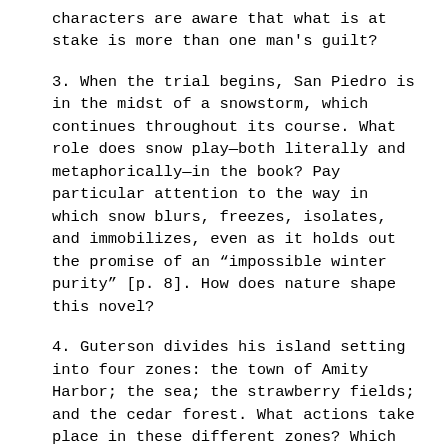characters are aware that what is at stake is more than one man's guilt?
3. When the trial begins, San Piedro is in the midst of a snowstorm, which continues throughout its course. What role does snow play—both literally and metaphorically—in the book? Pay particular attention to the way in which snow blurs, freezes, isolates, and immobilizes, even as it holds out the promise of an “impossible winter purity” [p. 8]. How does nature shape this novel?
4. Guterson divides his island setting into four zones: the town of Amity Harbor; the sea; the strawberry fields; and the cedar forest. What actions take place in these different zones? Which characters are associated with them? How does the author establish a